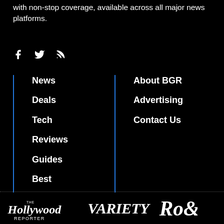with non-stop coverage, available across all major news platforms.
[Figure (illustration): Social media icons: Facebook (f), Twitter (bird), RSS feed]
News
Deals
Tech
Reviews
Guides
Best
About BGR
Advertising
Contact Us
[Figure (logo): The Hollywood Reporter logo]
[Figure (logo): Variety logo]
[Figure (logo): Rolling Stone logo (partial: Rol)]